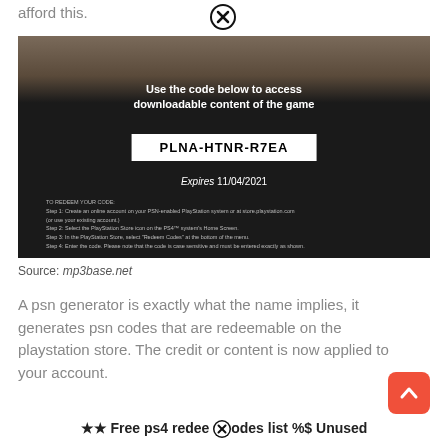afford this.
[Figure (photo): Photo of a PlayStation game insert card showing a DLC redemption code: PLNA-HTNR-R7EA, expires 11/04/2021, with instructions on how to redeem on PlayStation Store]
Source: mp3base.net
A psn generator is exactly what the name implies, it generates psn codes that are redeemable on the playstation store. The credit or content is now applied to your account.
★★ Free ps4 redeem codes list %$ Unused